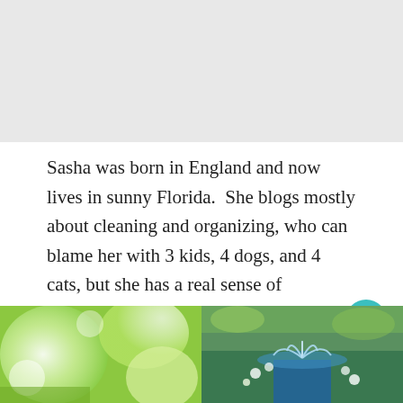[Figure (photo): Top image area (partially visible, appears to be a garden or outdoor scene)]
Sasha was born in England and now lives in sunny Florida.  She blogs mostly about cleaning and organizing, who can blame her with 3 kids, 4 dogs, and 4 cats, but she has a real sense of decorating and I am so excited she is sharing that with us today for our patios!
If you are anything like me you are ready to ditch the Winter and head into the warm weather season.
[Figure (photo): Two photos side by side at the bottom: left shows green bokeh nature scene, right shows a blue fountain with flowers]